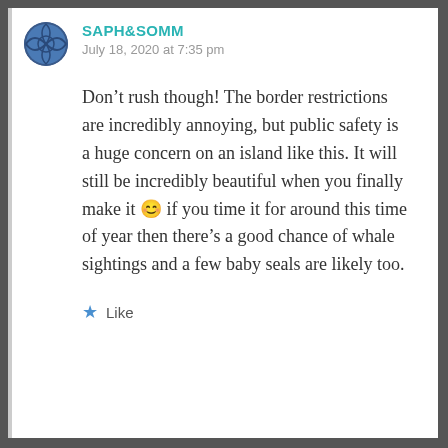SAPH&SOMM
July 18, 2020 at 7:35 pm
Don’t rush though! The border restrictions are incredibly annoying, but public safety is a huge concern on an island like this. It will still be incredibly beautiful when you finally make it 😊 if you time it for around this time of year then there’s a good chance of whale sightings and a few baby seals are likely too.
Like